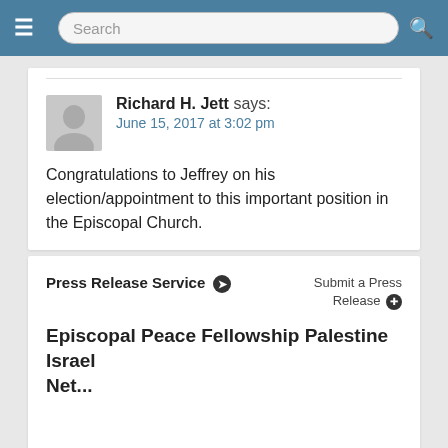Search
Richard H. Jett says: June 15, 2017 at 3:02 pm
Congratulations to Jeffrey on his election/appointment to this important position in the Episcopal Church.
Comments are closed.
Press Release Service
Submit a Press Release
Episcopal Peace Fellowship Palestine Israel Network...